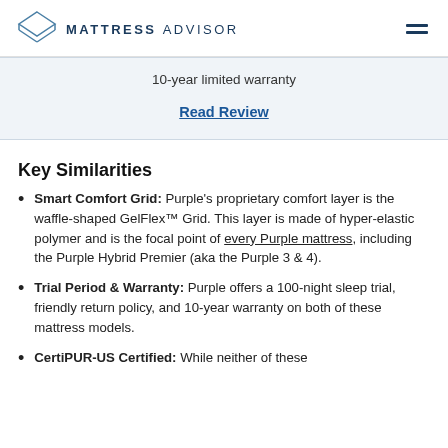MATTRESS ADVISOR
10-year limited warranty
Read Review
Key Similarities
Smart Comfort Grid: Purple's proprietary comfort layer is the waffle-shaped GelFlex™ Grid. This layer is made of hyper-elastic polymer and is the focal point of every Purple mattress, including the Purple Hybrid Premier (aka the Purple 3 & 4).
Trial Period & Warranty: Purple offers a 100-night sleep trial, friendly return policy, and 10-year warranty on both of these mattress models.
CertiPUR-US Certified: While neither of these